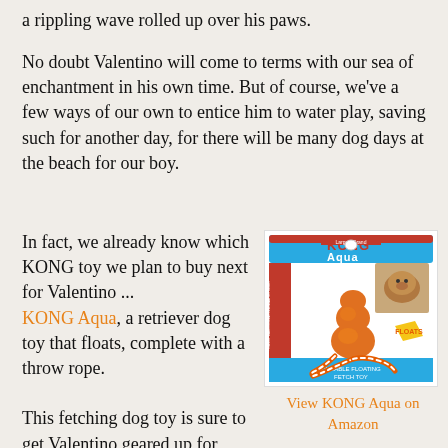a rippling wave rolled up over his paws.
No doubt Valentino will come to terms with our sea of enchantment in his own time. But of course, we've a few ways of our own to entice him to water play, saving such for another day, for there will be many dog days at the beach for our boy.
In fact, we already know which KONG toy we plan to buy next for Valentino ... KONG Aqua, a retriever dog toy that floats, complete with a throw rope.
[Figure (photo): Product photo of KONG Aqua dog toy - an orange rubber KONG-shaped toy with orange and white striped throw rope, displayed in packaging with 'KONG Aqua' branding and 'FLOATS' label]
View KONG Aqua on Amazon
This fetching dog toy is sure to get Valentino geared up for jumping right into the water, as he loves to play fetch and he loves his KONG toys!